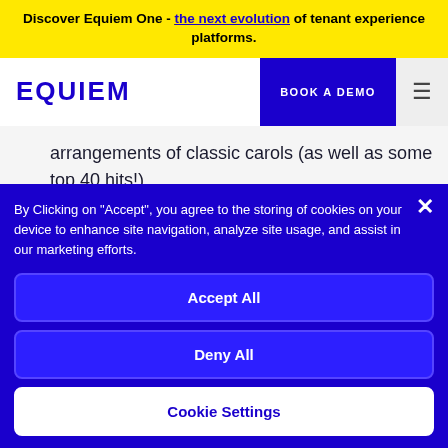Discover Equiem One - the next evolution of tenant experience platforms.
[Figure (logo): EQUIEM logo in dark blue bold text with navigation bar containing BOOK A DEMO button and hamburger menu]
arrangements of classic carols (as well as some top 40 hits!)
A gorgeously decorated Christmas Giving Tree
By Clicking on "Accept", you agree to the storing of cookies on your device to enhance site navigation, analyze site usage, and assist in our marketing efforts.
Accept All
Deny All
Cookie Settings